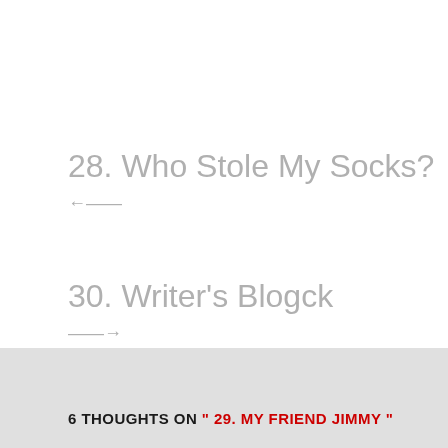28. Who Stole My Socks?
30. Writer's Blogck
6 THOUGHTS ON " 29. MY FRIEND JIMMY "